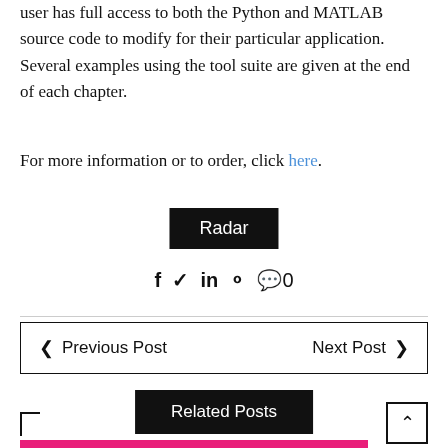user has full access to both the Python and MATLAB source code to modify for their particular application. Several examples using the tool suite are given at the end of each chapter.
For more information or to order, click here.
Radar
f  y  in  P  💬 0
❮  Previous Post    Next Post  ❯
Related Posts